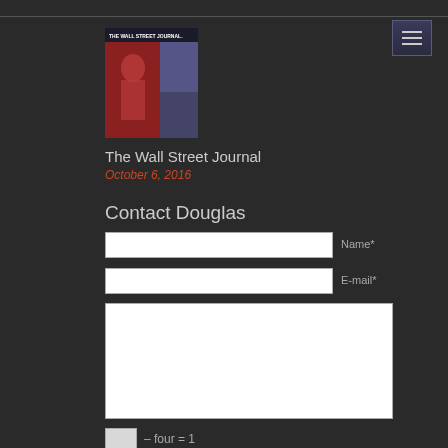[Figure (screenshot): Wall Street Journal magazine cover thumbnail with red and dark imagery]
The Wall Street Journal
October 6, 2016
Contact Douglas
Name*
E-mail*
– four = 1
Send message
x clear form